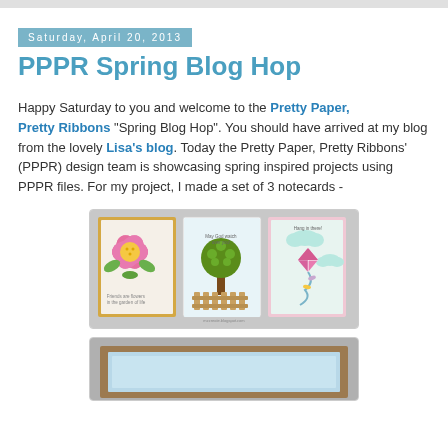Saturday, April 20, 2013
PPPR Spring Blog Hop
Happy Saturday to you and welcome to the Pretty Paper, Pretty Ribbons "Spring Blog Hop". You should have arrived at my blog from the lovely Lisa's blog. Today the Pretty Paper, Pretty Ribbons' (PPPR) design team is showcasing spring inspired projects using PPPR files. For my project, I made a set of 3 notecards -
[Figure (photo): Three handmade spring notecards: one with a pink flower on yellow background, one with a brown tree and picket fence, and one with a kite and clouds on pink background.]
[Figure (photo): Partial view of a second notecard or project with a kraft and blue mat.]